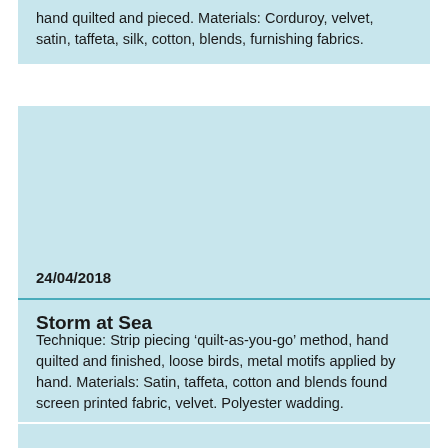hand quilted and pieced. Materials: Corduroy, velvet, satin, taffeta, silk, cotton, blends, furnishing fabrics.
24/04/2018
Storm at Sea
Technique: Strip piecing 'quilt-as-you-go' method, hand quilted and finished, loose birds, metal motifs applied by hand. Materials: Satin, taffeta, cotton and blends found screen printed fabric, velvet. Polyester wadding.